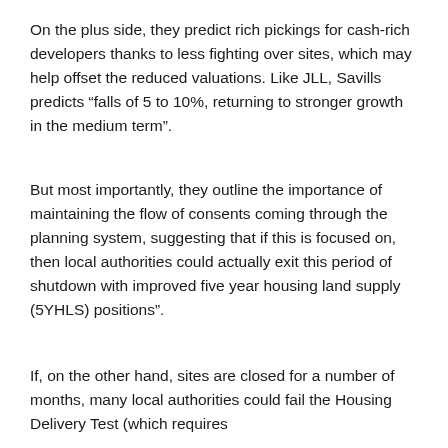On the plus side, they predict rich pickings for cash-rich developers thanks to less fighting over sites, which may help offset the reduced valuations. Like JLL, Savills predicts “falls of 5 to 10%, returning to stronger growth in the medium term”.
But most importantly, they outline the importance of maintaining the flow of consents coming through the planning system, suggesting that if this is focused on, then local authorities could actually exit this period of shutdown with improved five year housing land supply (5YHLS) positions”.
If, on the other hand, sites are closed for a number of months, many local authorities could fail the Housing Delivery Test (which requires